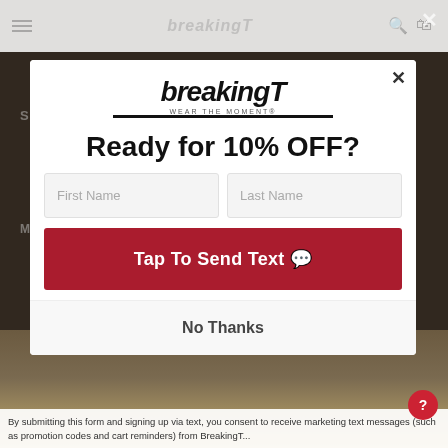[Figure (screenshot): Website background showing breakingT e-commerce site partially obscured by modal overlay. Navigation bar with hamburger menu, breakingT logo, search and cart icons visible at top. 'SHIPPING & RETURNS' page heading partially visible. Product images visible at bottom.]
[Figure (logo): breakingT logo with 'WEAR THE MOMENT' tagline underneath, displayed at top of modal popup]
Ready for 10% OFF?
First Name
Last Name
Tap To Send Text 💬
No Thanks
By submitting this form and signing up via text, you consent to receive marketing text messages (such as promotion codes and cart reminders) from BreakingT...